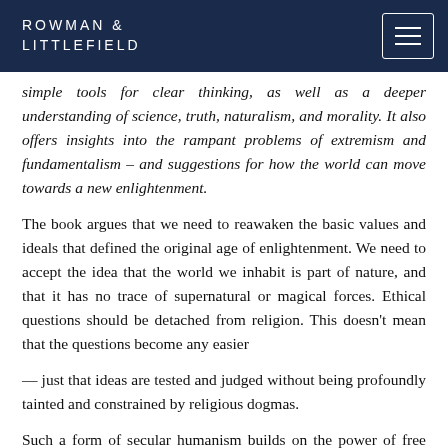ROWMAN & LITTLEFIELD
simple tools for clear thinking, as well as a deeper understanding of science, truth, naturalism, and morality. It also offers insights into the rampant problems of extremism and fundamentalism – and suggestions for how the world can move towards a new enlightenment.
The book argues that we need to reawaken the basic values and ideals that defined the original age of enlightenment. We need to accept the idea that the world we inhabit is part of nature, and that it has no trace of supernatural or magical forces. Ethical questions should be detached from religion. This doesn't mean that the questions become any easier
— just that ideas are tested and judged without being profoundly tainted and constrained by religious dogmas.
Such a form of secular humanism builds on the power of free thought — the power to investigate and understand the natural world. Although not everything can be investigated